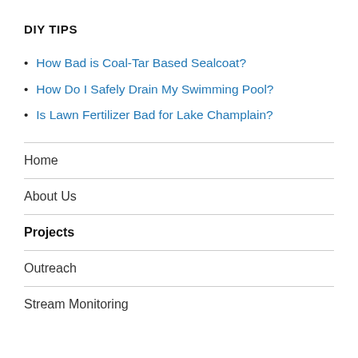DIY TIPS
How Bad is Coal-Tar Based Sealcoat?
How Do I Safely Drain My Swimming Pool?
Is Lawn Fertilizer Bad for Lake Champlain?
Home
About Us
Projects
Outreach
Stream Monitoring